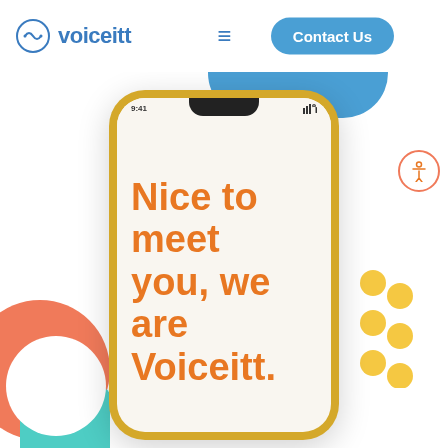[Figure (screenshot): Voiceitt website screenshot showing navigation bar with logo, hamburger menu, and Contact Us button, with a smartphone displaying 'Nice to meet you, we are Voiceitt.' in orange text on a light background, with colorful decorative shapes (coral semicircle, teal rectangle, yellow dots) and an accessibility icon.]